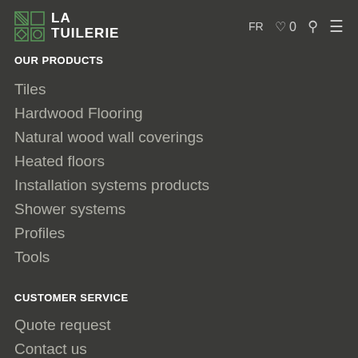LA TUILERIE | FR ♡ 0 🔍 ≡
OUR PRODUCTS
Tiles
Hardwood Flooring
Natural wood wall coverings
Heated floors
Installation systems products
Shower systems
Profiles
Tools
CUSTOMER SERVICE
Quote request
Contact us